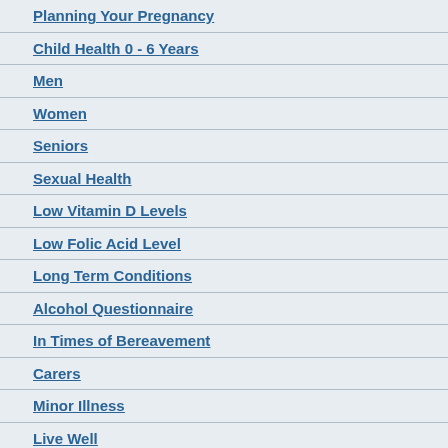Planning Your Pregnancy
Child Health 0 - 6 Years
Men
Women
Seniors
Sexual Health
Low Vitamin D Levels
Low Folic Acid Level
Long Term Conditions
Alcohol Questionnaire
In Times of Bereavement
Carers
Minor Illness
Live Well